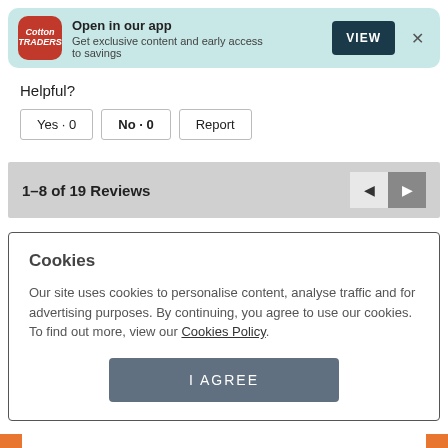[Figure (screenshot): App banner with Cotton Traders logo, 'Open in our app' heading, subtitle 'Get exclusive content and early access to savings', VIEW button, and X close button on a teal background]
Helpful?
Yes · 0   No · 0   Report
1–8 of 19 Reviews
Cookies
Our site uses cookies to personalise content, analyse traffic and for advertising purposes. By continuing, you agree to use our cookies. To find out more, view our Cookies Policy.
I AGREE